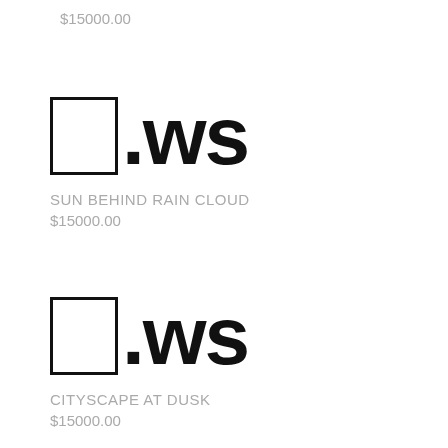$15000.00
[Figure (other): Domain name display: emoji placeholder box followed by '.ws' in large bold text]
SUN BEHIND RAIN CLOUD
$15000.00
[Figure (other): Domain name display: emoji placeholder box followed by '.ws' in large bold text]
CITYSCAPE AT DUSK
$15000.00